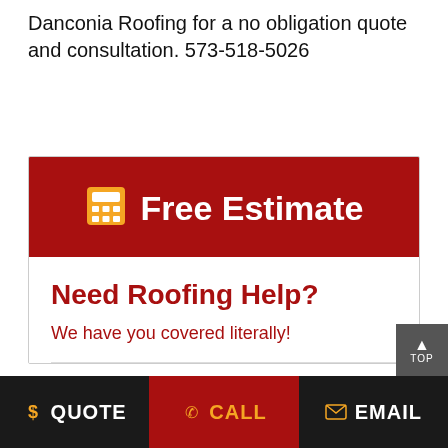Danconia Roofing for a no obligation quote and consultation. 573-518-5026
[Figure (screenshot): Red banner with calculator icon and 'Free Estimate' text in white, followed by a white card section with 'Need Roofing Help?' in red bold and 'We have you covered literally!' in red below it, then a horizontal divider.]
[Figure (infographic): Bottom navigation bar with three sections: black 'QUOTE' with yellow dollar sign, dark red 'CALL' with yellow phone icon and yellow text, and black 'EMAIL' with yellow envelope icon. A gray 'TOP' button with up arrow overlays the right side above the bar.]